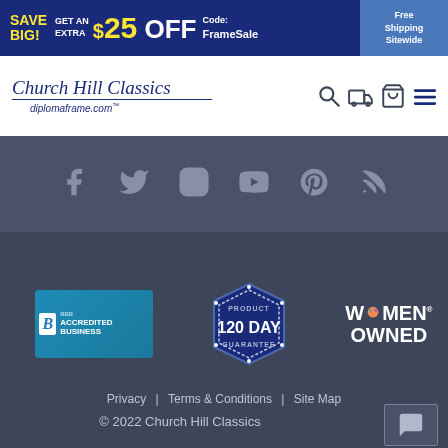[Figure (screenshot): Dark blue promotional banner: SAVE BIG! GET AN EXTRA $25 OFF Code: FrameSale | Free Shipping Sitewide]
[Figure (logo): Church Hill Classics / diplomaframe.com logo with navigation icons (search, truck, cart, menu)]
[Figure (infographic): Social media icons row: Facebook, Twitter, Instagram, YouTube, Pinterest, Blog/RSS on dark background]
[Figure (infographic): Three trust badges: BBB Accredited Business, Product 120 Day Guarantee, Women Owned]
Privacy | Terms & Conditions | Site Map
© 2022 Church Hill Classics